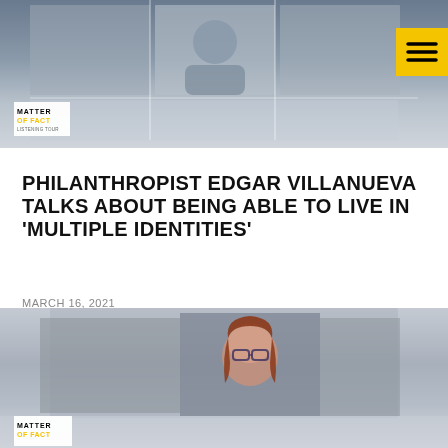[Figure (screenshot): Video thumbnail from Matter of Fact TV show showing a person in a video call grid layout with 'Matter of Fact' logo visible, hamburger menu button in top right corner with yellow background]
PHILANTHROPIST EDGAR VILLANUEVA TALKS ABOUT BEING ABLE TO LIVE IN 'MULTIPLE IDENTITIES'
MARCH 16, 2021
[Figure (screenshot): Video thumbnail from Matter of Fact TV show showing a woman with red hair and glasses in a video call grid layout with 'Matter of Fact' logo visible at bottom left]